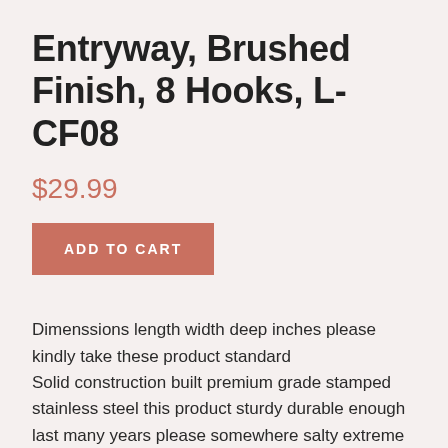Entryway, Brushed Finish, 8 Hooks, L-CF08
$29.99
ADD TO CART
Dimenssions length width deep inches please kindly take these product standard
Solid construction built premium grade stamped stainless steel this product sturdy durable enough last many years please somewhere salty extreme humid near swimming pool sea
Minimalist looking stylish compatible with any other modern designed home decor finest brushed surface